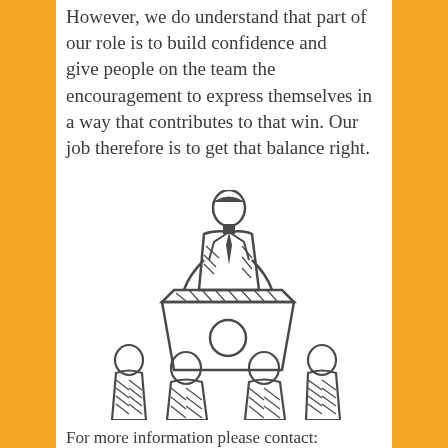However, we do understand that part of our role is to build confidence and give people on the team the encouragement to express themselves in a way that contributes to that win. Our job therefore is to get that balance right.
[Figure (illustration): Sketch illustration of a person standing at a podium/lectern addressing an audience of four seated people, drawn in a dark gray hand-drawn style.]
For more information please contact: